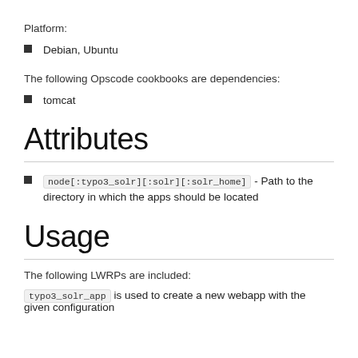Platform:
Debian, Ubuntu
The following Opscode cookbooks are dependencies:
tomcat
Attributes
node[:typo3_solr][:solr][:solr_home] - Path to the directory in which the apps should be located
Usage
The following LWRPs are included:
typo3_solr_app is used to create a new webapp with the given configuration